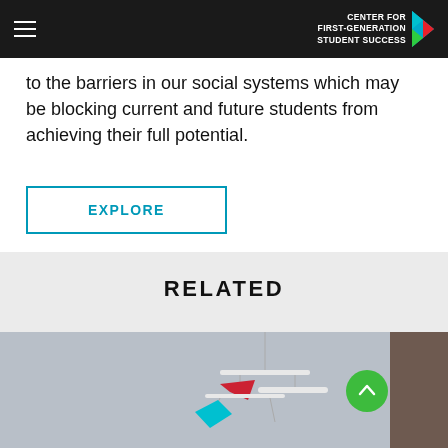CENTER FOR FIRST-GENERATION STUDENT SUCCESS
to the barriers in our social systems which may be blocking current and future students from achieving their full potential.
EXPLORE
RELATED
[Figure (photo): Photo showing a decorative mobile with small red and blue paper birds or shapes hanging from white tubes, against a grey background. A partial brown/dark vertical element visible at far right. A green scroll-to-top button overlays the right side.]